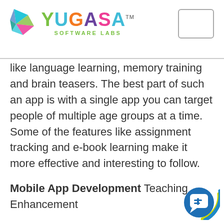YUGASA SOFTWARE LABS
like language learning, memory training and brain teasers. The best part of such an app is with a single app you can target people of multiple age groups at a time. Some of the features like assignment tracking and e-book learning make it more effective and interesting to follow.
Mobile App Development Teaching Enhancement
The best part of these apps is that the users can get all the learning module directly on their smartphones. They can check these